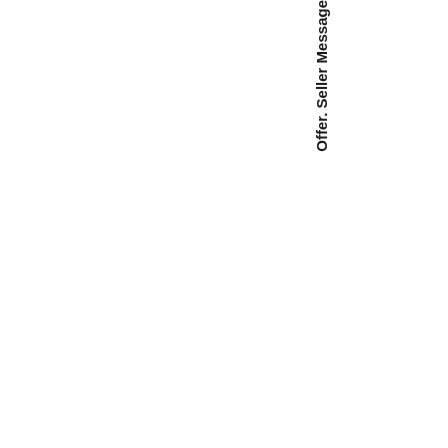|  | Offer. Seller Message |  |  |
| --- | --- | --- | --- |
|  |  |  |  |